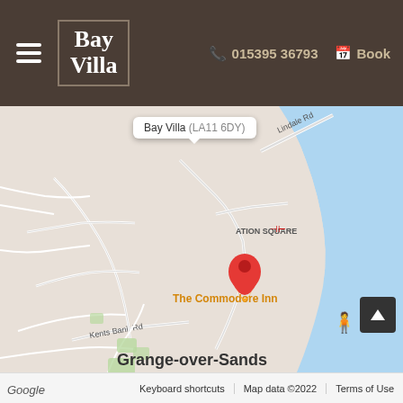[Figure (screenshot): Bay Villa hotel website header with logo, phone number 015395 36793, and Book button on dark brown background]
[Figure (map): Google Maps screenshot showing Grange-over-Sands coastal town in Cumbria, UK. A red location pin marks Bay Villa (LA11 6DY) near The Commodore Inn and Station Square. Roads including Lindale Rd, Park Rd, and Kents Bank Rd are visible. The map shows the coastline with blue sea to the right. A popup tooltip reads 'Bay Villa (LA11 6DY)'.]
Keyboard shortcuts   Map data ©2022   Terms of Use